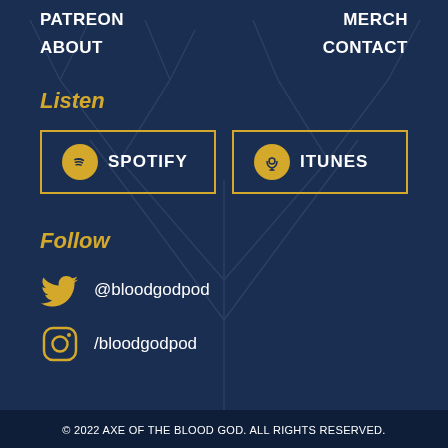PATREON   MERCH
ABOUT   CONTACT
Listen
[Figure (other): SPOTIFY button with green Spotify icon circle and ITUNES button with gold podcast icon circle, both bordered in gold]
Follow
@bloodgodpod
/bloodgodpod
© 2022 AXE OF THE BLOOD GOD. ALL RIGHTS RESERVED.